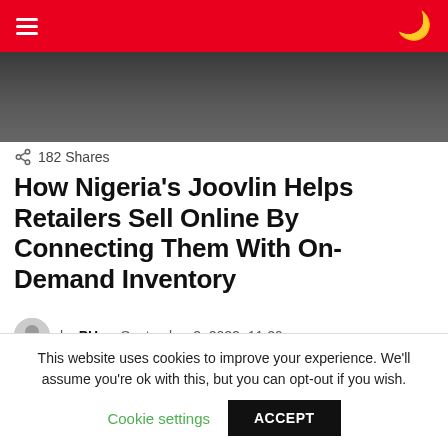Navigation bar with hamburger menu and moon icon
[Figure (photo): Hero image showing partial view of people, cropped at top]
182 Shares
How Nigeria's Joovlin Helps Retailers Sell Online By Connecting Them With On-Demand Inventory
by PH • September 2, 2022, 11:29 am
[Figure (screenshot): Partial image with diagonal black line and blue diamond logo, with partial text 'd and embed' visible]
This website uses cookies to improve your experience. We'll assume you're ok with this, but you can opt-out if you wish. Cookie settings ACCEPT